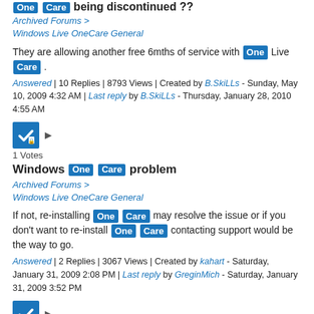One Care being discontinued?? [partial header at top]
Archived Forums > Windows Live OneCare General
They are allowing another free 6mths of service with One Live Care .
Answered | 10 Replies | 8793 Views | Created by B.SkiLLs - Sunday, May 10, 2009 4:32 AM | Last reply by B.SkiLLs - Thursday, January 28, 2010 4:55 AM
[Figure (other): Blue answered/locked checkmark icon with triangle arrow]
1 Votes
Windows One Care problem
Archived Forums > Windows Live OneCare General
If not, re-installing One Care may resolve the issue or if you don't want to re-install One Care contacting support would be the way to go.
Answered | 2 Replies | 3067 Views | Created by kahart - Saturday, January 31, 2009 2:08 PM | Last reply by GreginMich - Saturday, January 31, 2009 3:52 PM
[Figure (other): Blue answered/locked checkmark icon with triangle arrow]
0 Votes